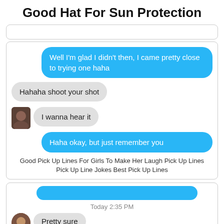Good Hat For Sun Protection
[Figure (screenshot): Chat conversation screenshot showing blue and gray message bubbles. Blue bubble (sent): 'Well I'm glad I didn't then, I came pretty close to trying one haha'. Gray bubbles (received): 'Hahaha shoot your shot', 'I wanna hear it'. Blue bubble (sent): 'Haha okay, but just remember you']
Good Pick Up Lines For Girls To Make Her Laugh Pick Up Lines Pick Up Line Jokes Best Pick Up Lines
[Figure (screenshot): Partial chat screenshot showing blue bar at top, timestamp 'Today 2:35 PM', and partial gray bubble starting with 'Pretty sure']